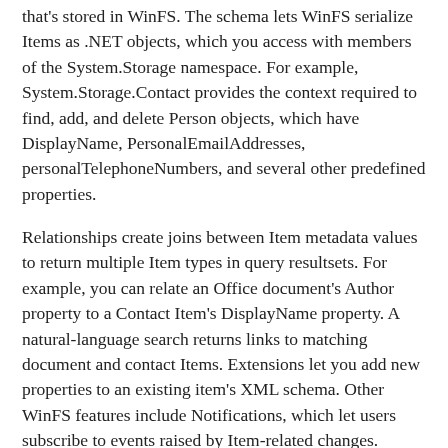that's stored in WinFS. The schema lets WinFS serialize Items as .NET objects, which you access with members of the System.Storage namespace. For example, System.Storage.Contact provides the context required to find, add, and delete Person objects, which have DisplayName, PersonalEmailAddresses, personalTelephoneNumbers, and several other predefined properties.
Relationships create joins between Item metadata values to return multiple Item types in query resultsets. For example, you can relate an Office document's Author property to a Contact Item's DisplayName property. A natural-language search returns links to matching document and contact Items. Extensions let you add new properties to an existing item's XML schema. Other WinFS features include Notifications, which let users subscribe to events raised by Item-related changes.
Synchronization between WinFS stores on multiple machines takes place through a "community folder"